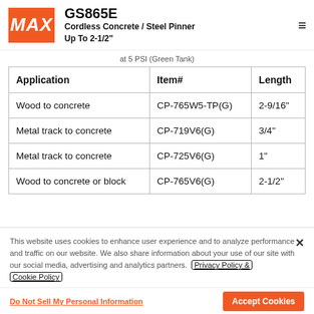GS865E Cordless Concrete / Steel Pinner Up To 2-1/2"
at 5 PSI (Green Tank)
| Application | Item# | Length |
| --- | --- | --- |
| Wood to concrete | CP-765W5-TP(G) | 2-9/16" |
| Metal track to concrete | CP-719V6(G) | 3/4" |
| Metal track to concrete | CP-725V6(G) | 1" |
| Wood to concrete or block | CP-765V6(G) | 2-1/2" |
This website uses cookies to enhance user experience and to analyze performance and traffic on our website. We also share information about your use of our site with our social media, advertising and analytics partners. Privacy Policy & Cookie Policy
Do Not Sell My Personal Information
Accept Cookies